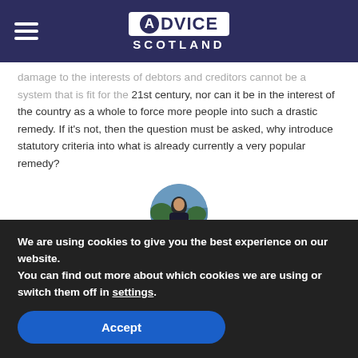Advice Scotland
damage to the interests of debtors and creditors cannot be a system that is fit for the 21st century, nor can it be in the interest of the country as a whole to force more people into such a drastic remedy. If it's not, then the question must be asked, why introduce statutory criteria into what is already currently a very popular remedy?
[Figure (photo): Circular profile photo of Scottish Adviser author]
Scottish Adviser
[Figure (other): Ask us button with Messenger icon]
Bankruptcy Consultation Cancelled
We are using cookies to give you the best experience on our website.
You can find out more about which cookies we are using or switch them off in settings.
Accept